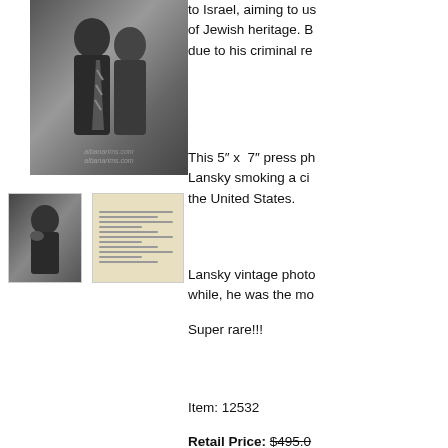[Figure (photo): Black and white press photo of Meyer Lansky smoking a cigarette, main large image with watermark albanarims.com]
[Figure (photo): Small thumbnail black and white photo of Meyer Lansky]
[Figure (photo): Thumbnail image of handwritten or typed press note on aged paper]
to Israel, aiming to us of Jewish heritage. B due to his criminal re
This 5” x  7” press ph Lansky smoking a ci the United States.
Lansky vintage photo while, he was the mo
Super rare!!!
Item: 12532
Retail Price: $495.0
You Save: $100.00 (2